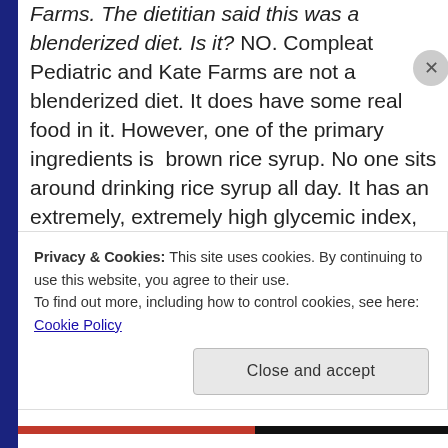Farms. The dietitian said this was a blenderized diet. Is it? NO. Compleat Pediatric and Kate Farms are not a blenderized diet. It does have some real food in it. However, one of the primary ingredients is brown rice syrup. No one sits around drinking rice syrup all day. It has an extremely, extremely high glycemic index, much higher than table sugar. If you wouldn't eat or drink it, there is no reason to think your child should eat or drink it. Besides being high in refined carbs (and the companies that makes these formulas go to great lengths
Privacy & Cookies: This site uses cookies. By continuing to use this website, you agree to their use.
To find out more, including how to control cookies, see here: Cookie Policy
Close and accept